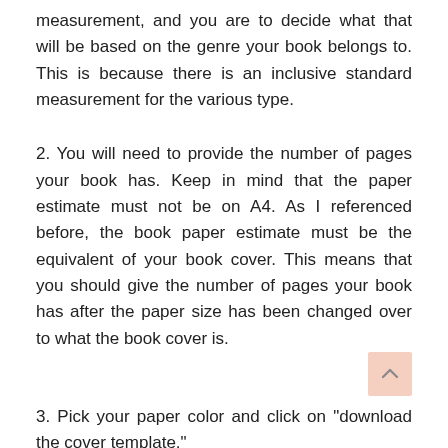measurement, and you are to decide what that will be based on the genre your book belongs to. This is because there is an inclusive standard measurement for the various type.
2. You will need to provide the number of pages your book has. Keep in mind that the paper estimate must not be on A4. As I referenced before, the book paper estimate must be the equivalent of your book cover. This means that you should give the number of pages your book has after the paper size has been changed over to what the book cover is.
3. Pick your paper color and click on "download the cover template."
Finally, a download will be made. It will be a zip file